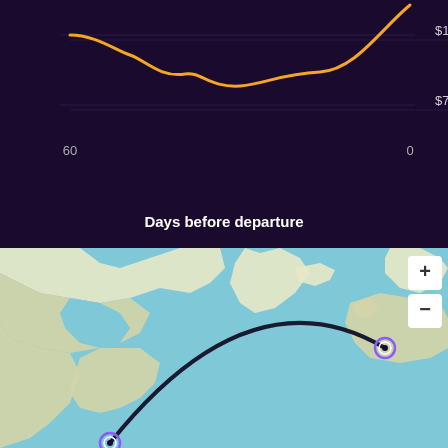[Figure (line-chart): ]
Days before departure
[Figure (map): World map showing a flight route arc from North America (bottom left) to Europe/UK area (right side), with circular markers at each endpoint. Map controls showing + and - zoom buttons in top right corner.]